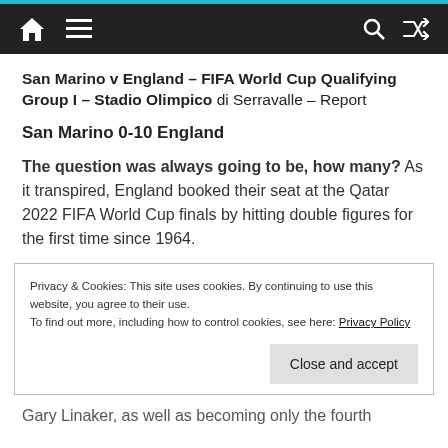Nav bar with home, menu, search, shuffle icons
San Marino v England – FIFA World Cup Qualifying Group I – Stadio Olimpico di Serravalle – Report
San Marino 0-10 England
The question was always going to be, how many? As it transpired, England booked their seat at the Qatar 2022 FIFA World Cup finals by hitting double figures for the first time since 1964.
Privacy & Cookies: This site uses cookies. By continuing to use this website, you agree to their use.
To find out more, including how to control cookies, see here: Privacy Policy
Gary Linaker, as well as becoming only the fourth